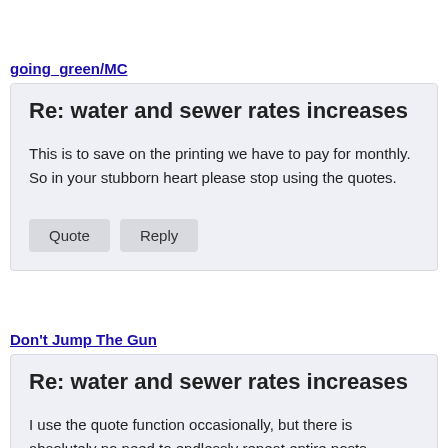going_green/MC
Re: water and sewer rates increases
This is to save on the printing we have to pay for monthly. So in your stubborn heart please stop using the quotes.
Don't Jump The Gun
Re: water and sewer rates increases
I use the quote function occasionally, but there is absolutely no need to endlessly repeat entire posts, especially if it's lengthy one. More often than not, I will selectively quote an excerpt of just one sentence from a post. That can give some clarity to a response that may be missing if...